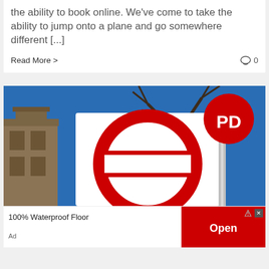the ability to book online. We've come to take the ability to jump onto a plane and go somewhere different [...]
Read More >
0
[Figure (photo): London Underground roundel sign and a red circular 'PD' parking disc sign against a blue sky, with a tree and stone building in background]
100% Waterproof Floor
Open
Ad